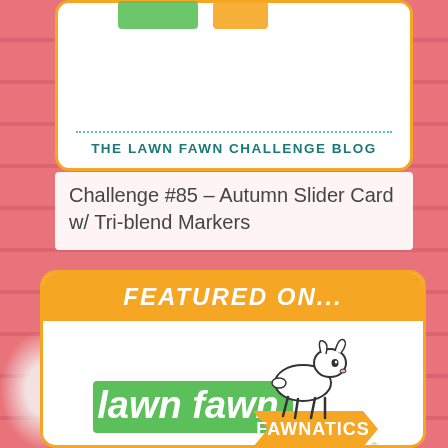[Figure (illustration): Pink wooden plank background with small white baby's breath flowers on the left side]
[Figure (logo): Top partial white card with orange border showing dotted teal line and 'THE LAWN FAWN CHALLENGE BLOG' text in teal]
Challenge #85 – Autumn Slider Card w/ Tri-blend Markers
[Figure (logo): Featured On badge card with orange banner header saying 'FEATURED ON...' and Lawn Fawnatics logo inside with deer illustration, green and orange ribbon, and 'THE LAWN FAWN CHALLENGE BLOG' text at bottom]